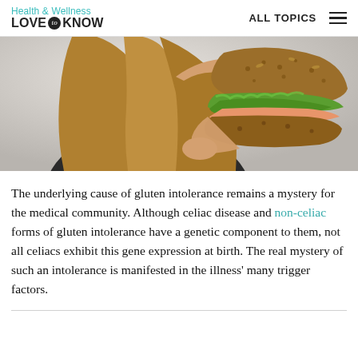Health & Wellness Love to Know — ALL TOPICS
[Figure (photo): A woman with long blonde hair holding up a sandwich made with whole grain bread and lettuce filling, photographed from below against a light background.]
The underlying cause of gluten intolerance remains a mystery for the medical community. Although celiac disease and non-celiac forms of gluten intolerance have a genetic component to them, not all celiacs exhibit this gene expression at birth. The real mystery of such an intolerance is manifested in the illness' many trigger factors.